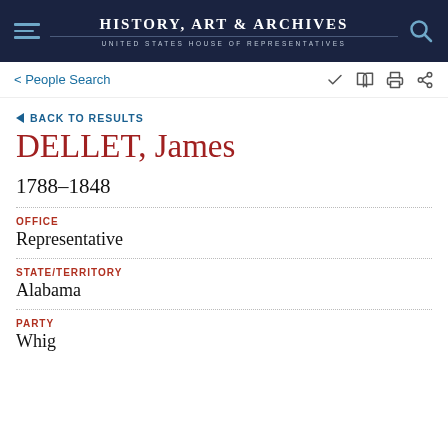History, Art & Archives — United States House of Representatives
< People Search
BACK TO RESULTS
DELLET, James
1788–1848
OFFICE
Representative
STATE/TERRITORY
Alabama
PARTY
Whig